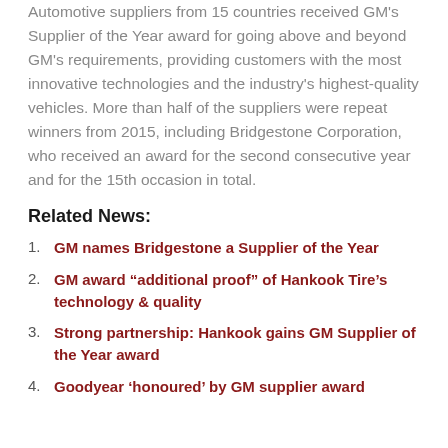Automotive suppliers from 15 countries received GM's Supplier of the Year award for going above and beyond GM's requirements, providing customers with the most innovative technologies and the industry's highest-quality vehicles. More than half of the suppliers were repeat winners from 2015, including Bridgestone Corporation, who received an award for the second consecutive year and for the 15th occasion in total.
Related News:
GM names Bridgestone a Supplier of the Year
GM award “additional proof” of Hankook Tire’s technology & quality
Strong partnership: Hankook gains GM Supplier of the Year award
Goodyear ‘honoured’ by GM supplier award